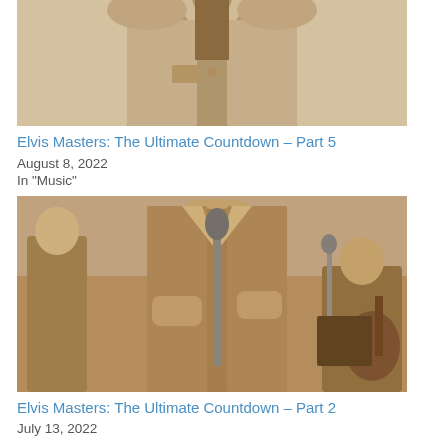[Figure (photo): Black and white / sepia vintage photo of a man in a light jacket, upper body visible, performing or posing]
Elvis Masters: The Ultimate Countdown – Part 5
August 8, 2022
In "Music"
[Figure (photo): Black and white / sepia vintage photo of a man performing at a microphone, with band members visible behind him]
Elvis Masters: The Ultimate Countdown – Part 2
July 13, 2022